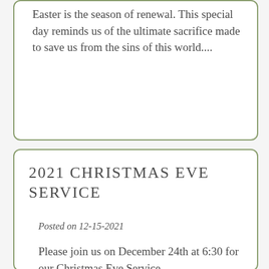Easter is the season of renewal. This special day reminds us of the ultimate sacrifice made to save us from the sins of this world....
Read More
2021 CHRISTMAS EVE SERVICE
Posted on 12-15-2021
Please join us on December 24th at 6:30 for our Christmas Eve Service. ...